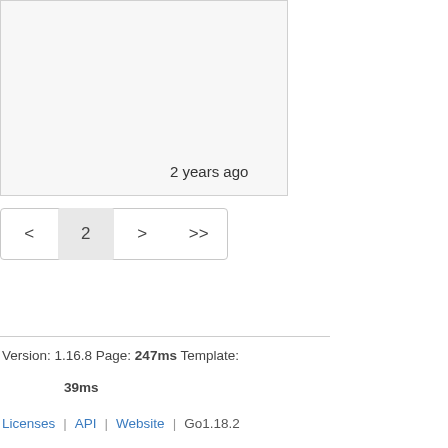[Figure (screenshot): Light gray content box (top portion of a web UI card)]
2 years ago
[Figure (screenshot): Pagination control with buttons: < 2 > >>]
Version: 1.16.8 Page: 247ms Template:
39ms
Licenses | API | Website | Go1.18.2